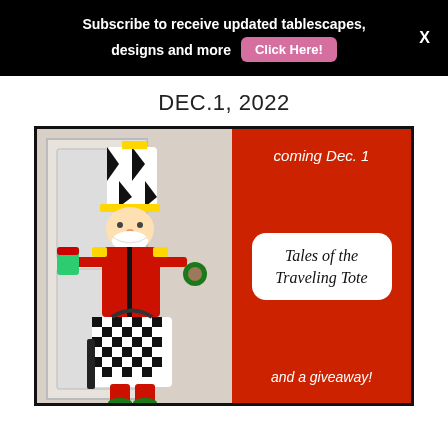Subscribe to receive updated tablescapes, designs and more  [Click Here!]  X
DEC.1, 2022
[Figure (illustration): Promotional image showing a painted nutcracker figurine holding a toy cat and luggage on the left half, and a red panel on the right with text 'coming Dec. 1' above a white rounded box reading 'Tales of the Traveling Tote' in script font, and 'and a giveaway!' below.]